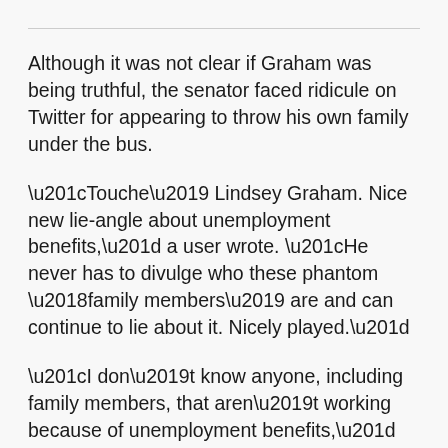Although it was not clear if Graham was being truthful, the senator faced ridicule on Twitter for appearing to throw his own family under the bus.
“Touche’ Lindsey Graham. Nice new lie-angle about unemployment benefits,” a user wrote. “He never has to divulge who these phantom ‘family members’ are and can continue to lie about it. Nicely played.”
“I don’t know anyone, including family members, that aren’t working because of unemployment benefits,” another Twitter user added. “[But] I DO know people who don’t work because they can’t afford it.”